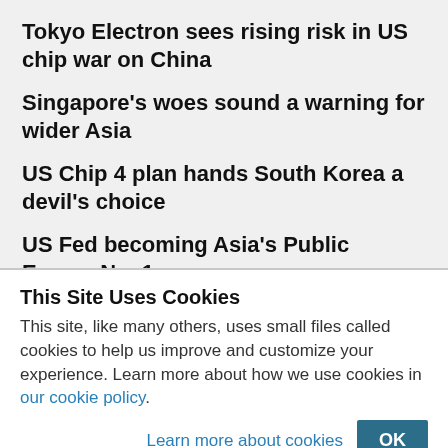Tokyo Electron sees rising risk in US chip war on China
Singapore's woes sound a warning for wider Asia
US Chip 4 plan hands South Korea a devil's choice
US Fed becoming Asia's Public Enemy No. 1
Worst productivity drop ever means more inflation
This Site Uses Cookies
This site, like many others, uses small files called cookies to help us improve and customize your experience. Learn more about how we use cookies in our cookie policy.
Learn more about cookies   OK